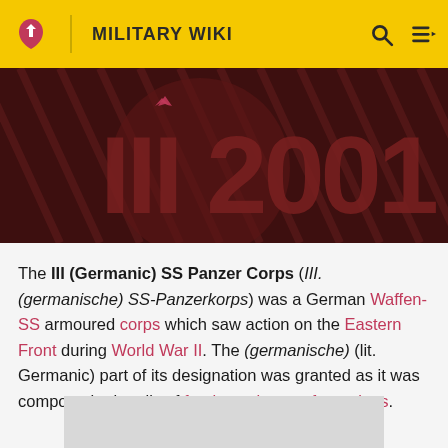MILITARY WIKI
[Figure (photo): Dark red/maroon decorative banner image with diagonal stripes and large stylized text/numbers in the background, partially visible]
The III (Germanic) SS Panzer Corps (Ill. (germanische) SS-Panzerkorps) was a German Waffen-SS armoured corps which saw action on the Eastern Front during World War II. The (germanische) (lit. Germanic) part of its designation was granted as it was composed primarily of foreign volunteer formations.